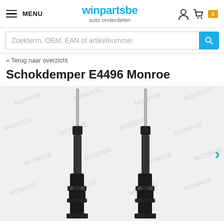winpartsbe auto onderdelen — MENU — cart: 0
Zoekterm, OEM, EAN of artikelnummer
« Terug naar overzicht
Schokdemper E4496 Monroe
[Figure (photo): Two Monroe shock absorbers (part E4496) shown side by side on a white background with repeated MONROE watermark text. The shock absorbers are black/metallic with visible mounting brackets at the bottom.]